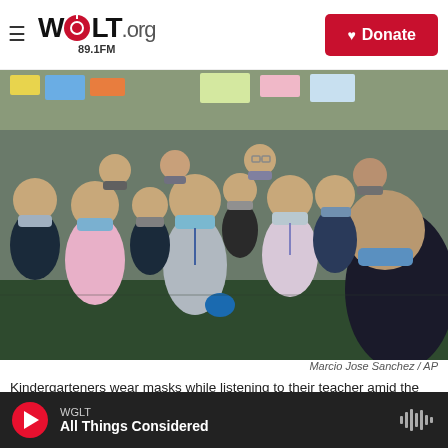WGLT.org 89.1FM | Donate
[Figure (photo): A group of elementary school kindergarteners wearing face masks in a classroom, standing and listening to their teacher during the COVID-19 pandemic at Washington Elementary School in Lynwood, California. Photo by Marcio Jose Sanchez / AP.]
Marcio Jose Sanchez / AP
Kindergarteners wear masks while listening to their teacher amid the COVID-19 pandemic at Washington Elementary School in Lynwood, Calif.,
WGLT | All Things Considered